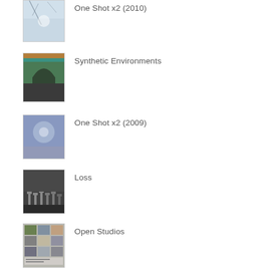One Shot x2 (2010)
Synthetic Environments
One Shot x2 (2009)
Loss
Open Studios
Whimsy